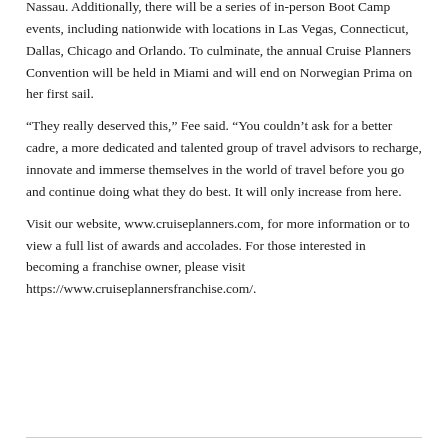Nassau. Additionally, there will be a series of in-person Boot Camp events, including nationwide with locations in Las Vegas, Connecticut, Dallas, Chicago and Orlando. To culminate, the annual Cruise Planners Convention will be held in Miami and will end on Norwegian Prima on her first sail.
“They really deserved this,” Fee said. “You couldn’t ask for a better cadre, a more dedicated and talented group of travel advisors to recharge, innovate and immerse themselves in the world of travel before you go and continue doing what they do best. It will only increase from here.
Visit our website, www.cruiseplanners.com, for more information or to view a full list of awards and accolades. For those interested in becoming a franchise owner, please visit https://www.cruiseplannersfranchise.com/.